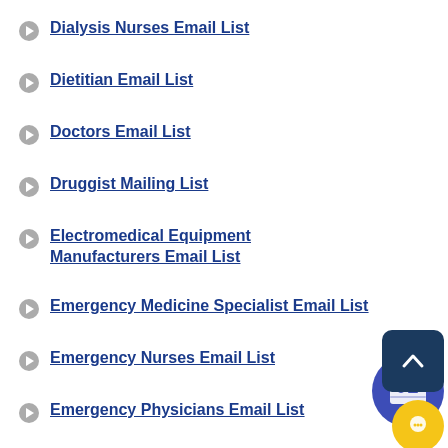Dialysis Nurses Email List
Dietitian Email List
Doctors Email List
Druggist Mailing List
Electromedical Equipment Manufacturers Email List
Emergency Medicine Specialist Email List
Emergency Nurses Email List
Emergency Physicians Email List